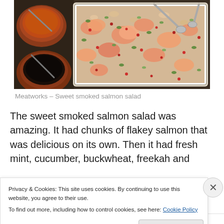[Figure (photo): Food photo showing a large white rectangular tray filled with sweet smoked salmon salad with chunks of salmon, grains, green herbs, and red pomegranate seeds. Brown ceramic bowls with sauces/spices visible on the left side.]
Meatworks – Sweet smoked salmon salad
The sweet smoked salmon salad was amazing. It had chunks of flakey salmon that was delicious on its own. Then it had fresh mint, cucumber, buckwheat, freekah and
Privacy & Cookies: This site uses cookies. By continuing to use this website, you agree to their use.
To find out more, including how to control cookies, see here: Cookie Policy
Close and accept